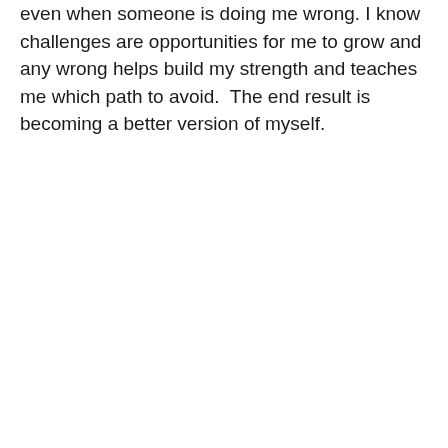even when someone is doing me wrong. I know challenges are opportunities for me to grow and any wrong helps build my strength and teaches me which path to avoid.  The end result is becoming a better version of myself.